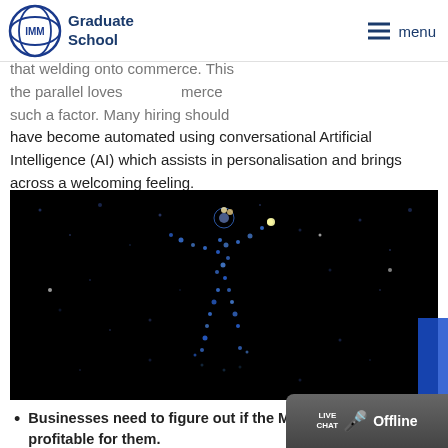IMM Graduate School — menu
have become automated using conversational Artificial Intelligence (AI) which assists in personalisation and brings across a welcoming feeling.
[Figure (photo): A digital/particle art figure of a human form made of glowing blue and white light particles against a dark black background, suggesting a digital or metaverse human avatar.]
Businesses need to figure out if the Metaverse would be profitable for them. The Metaverse is sure to offer new opportunities for businesses, but some businesses may have access to